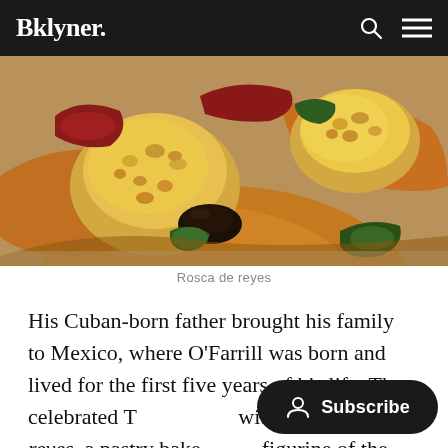Bklyner.
[Figure (photo): Close-up photograph of a rosca de reyes (Three Kings bread), a ring-shaped sweet bread decorated with colorful candied fruits, sugar, and a dark fig or dried fruit, with green and red decorations on top.]
Rosca de reyes
His Cuban-born father brought his family to Mexico, where O'Farrill was born and lived for the first five years of his life. They celebrated T[hree Kings Day] with a rosca de reyes, a pastry bake[d with a small] figurine of the Christ child hidden inside.